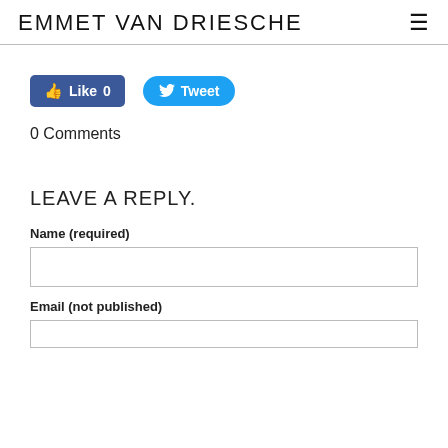EMMET VAN DRIESCHE
[Figure (screenshot): Facebook Like button with count 0]
[Figure (screenshot): Twitter Tweet button]
0 Comments
LEAVE A REPLY.
Name (required)
Email (not published)